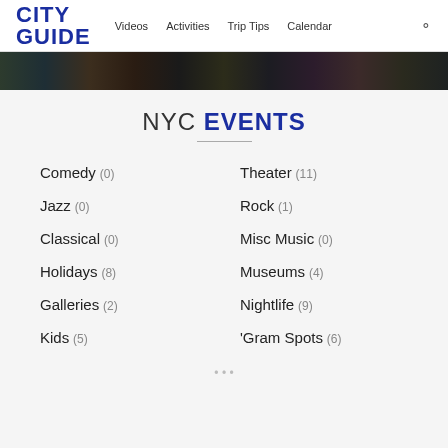CITY GUIDE | Videos  Activities  Trip Tips  Calendar
[Figure (photo): Dark colorful abstract hero banner strip]
NYC EVENTS
Comedy (0)
Theater (11)
Jazz (0)
Rock (1)
Classical (0)
Misc Music (0)
Holidays (8)
Museums (4)
Galleries (2)
Nightlife (9)
Kids (5)
'Gram Spots (6)